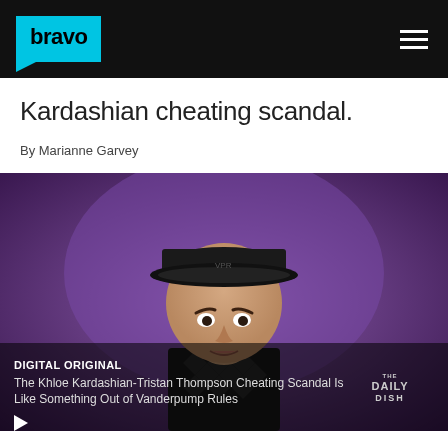bravo
Kardashian cheating scandal.
By Marianne Garvey
[Figure (screenshot): Video thumbnail showing a young man wearing a black cap and patterned sweater against a purple background. Overlaid text reads: DIGITAL ORIGINAL / The Khloe Kardashian-Tristan Thompson Cheating Scandal Is Like Something Out of Vanderpump Rules. Daily Dish logo visible in lower right. Play button in lower left.]